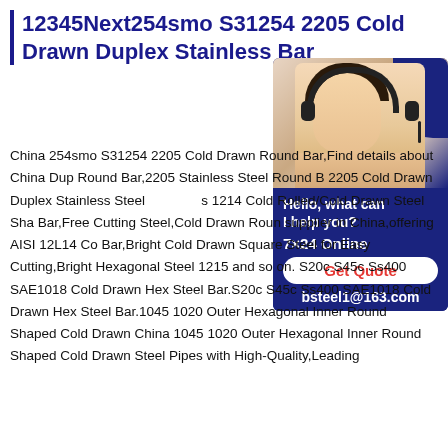12345Next254smo S31254 2205 Cold Drawn Duplex Stainless Bar
[Figure (photo): Customer service chat widget showing a woman with a headset, text 'Hello, what can I help you?', '7×24 Online', 'Get Quote' button, and email 'bsteel1@163.com' on a dark blue background]
China 254smo S31254 2205 Cold Drawn Round Bar,Find details about China Duplex Round Bar,2205 Stainless Steel Round Bar - 2205 Cold Drawn Duplex Stainless Steel 1214 Cold Rolled/Cold Drawn Steel Shaft Bar,Free Cutting Steel,Cold Drawn Round supplier in China,offering AISI 12L14 Cold Bar,Bright Cold Drawn Square Steel for Easy Cutting,Bright Hexagonal Steel 1215 and so on. S20c S45c Ss400 SAE1018 Cold Drawn Hex Steel Bar.S20c S45c Ss400 SAE1018 Cold Drawn Hex Steel Bar.1045 1020 Outer Hexagonal Inner Round Shaped Cold Drawn China 1045 1020 Outer Hexagonal Inner Round Shaped Cold Drawn Steel Pipes with High-Quality,Leading